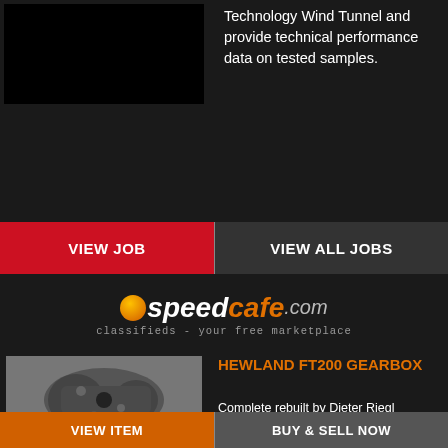Technology Wind Tunnel and provide technical performance data on tested samples.
VIEW JOB
VIEW ALL JOBS
[Figure (logo): speedcafe.com logo with orange dot, italic text reading 'speedcafe.com', tagline: 'classifieds - your free marketplace']
[Figure (photo): Hewland FT200 gearbox mechanical component photo]
HEWLAND FT200 GEARBOX
Complete rebuilt by Dieter Riegl Motorsportservice and used only for 2 races New CWP 10/31 with this gears : 1° 12/35 2 ° 17/41 3
VIEW ITEM
BUY & SELL NOW